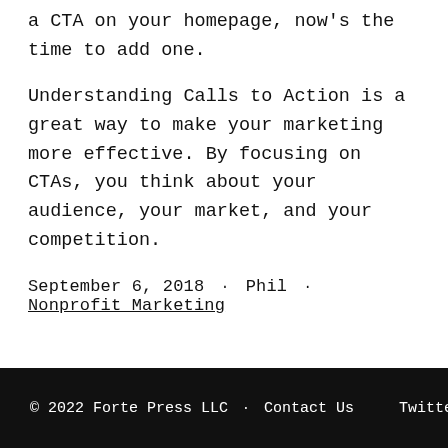a CTA on your homepage, now's the time to add one.
Understanding Calls to Action is a great way to make your marketing more effective. By focusing on CTAs, you think about your audience, your market, and your competition.
September 6, 2018 · Phil · Nonprofit Marketing
© 2022 Forte Press LLC · Contact Us    Twitter · Github